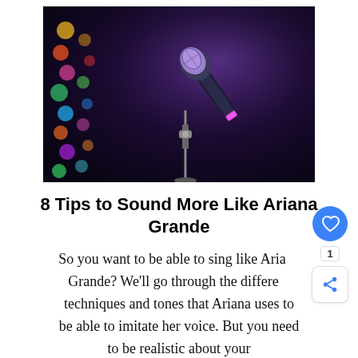[Figure (photo): A microphone on a stand against a dark blurred background with colorful bokeh lights (rainbow dots) on the left side, purple/blue tones throughout.]
8 Tips to Sound More Like Ariana Grande
So you want to be able to sing like Ariana Grande? We'll go through the different techniques and tones that Ariana uses to be able to imitate her voice. But you need to be realistic about your